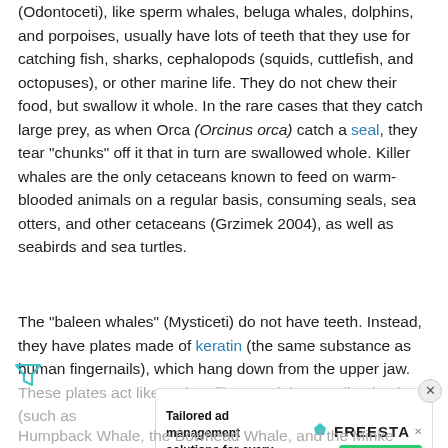(Odontoceti), like sperm whales, beluga whales, dolphins, and porpoises, usually have lots of teeth that they use for catching fish, sharks, cephalopods (squids, cuttlefish, and octopuses), or other marine life. They do not chew their food, but swallow it whole. In the rare cases that they catch large prey, as when Orca (Orcinus orca) catch a seal, they tear "chunks" off it that in turn are swallowed whole. Killer whales are the only cetaceans known to feed on warm-blooded animals on a regular basis, consuming seals, sea otters, and other cetaceans (Grzimek 2004), as well as seabirds and sea turtles.
The "baleen whales" (Mysticeti) do not have teeth. Instead, they have plates made of keratin (the same substance as human fingernails), which hang down from the upper jaw. These plates act like a giant filter, straining small animals (such as...) include... Humpback Whale, the Bowhead Whale, and the Minke
[Figure (other): Advertisement banner for Freesta tailored ad management solutions for every publisher with Learn More button]